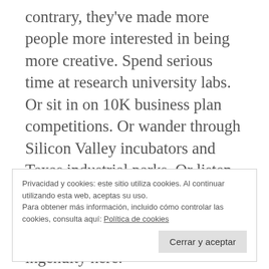contrary, they've made more people more interested in being more creative. Spend serious time at research university labs. Or sit in on 10K business plan competitions. Or wander through Silicon Valley incubators and Texas industrial parks. Or listen to top-tier venture capitalists. You'll be impressed. There's no shortage of creativity and ingenuity here.
Privacidad y cookies: este sitio utiliza cookies. Al continuar utilizando esta web, aceptas su uso.
Para obtener más información, incluido cómo controlar las cookies, consulta aquí: Política de cookies
Cerrar y aceptar